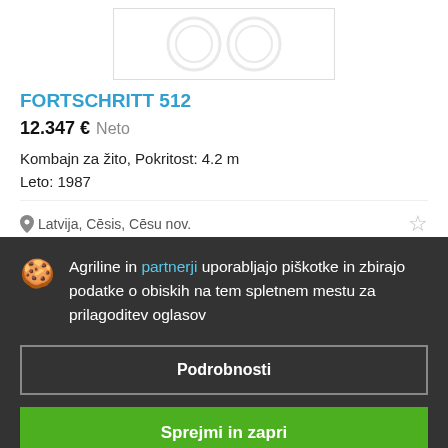[Figure (photo): Product image placeholder showing two circular logos/icons, partially visible at top of page]
FORTSCHRITT 512
12.347 €  Neto
Kombajn za žito, Pokritost: 4.2 m
Leto: 1987
Latvija, Cēsis, Cēsu nov.
Agriline in partnerji uporabljajo piškotke in zbirajo podatke o obiskih na tem spletnem mestu za prilagoditev oglasov
Podrobnosti
Sprejmi in zapri